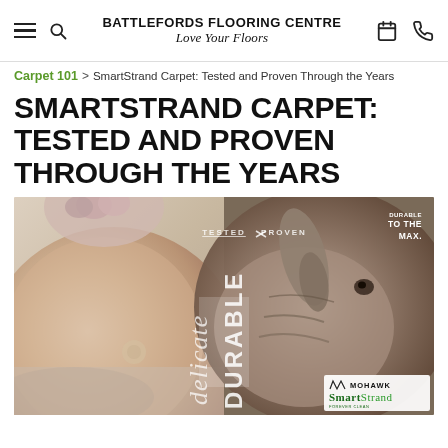BATTLEFORDS FLOORING CENTRE — Love Your Floors
Carpet 101 > SmartStrand Carpet: Tested and Proven Through the Years
SMARTSTRAND CARPET: TESTED AND PROVEN THROUGH THE YEARS
[Figure (photo): Split marketing image: left side shows a sleeping baby with a floral headband on soft carpet; right side shows a close-up of a rhinoceros. Center overlay shows 'TESTED' and 'PROVEN' with arrows, and vertical text 'delicate' and 'DURABLE'. Top right reads 'DURABLE TO THE MAX.' Bottom right shows Mohawk SmartStrand logo.]